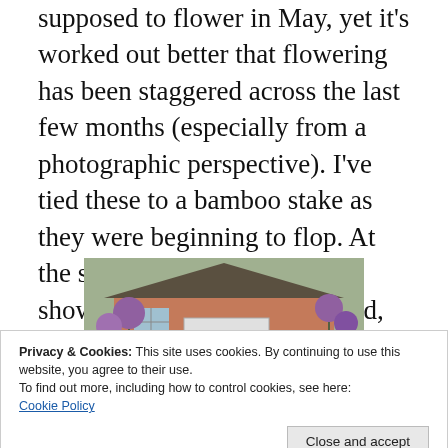supposed to flower in May, yet it's worked out better that flowering has been staggered across the last few months (especially from a photographic perspective). I've tied these to a bamboo stake as they were beginning to flop. At the start of the week, they still showed some green, by the end, they were colouring up nicely and full of bees.
[Figure (photo): Photograph of a suburban house front with a white garage door, brick facade, and purple allium flowers in the garden foreground.]
Privacy & Cookies: This site uses cookies. By continuing to use this website, you agree to their use.
To find out more, including how to control cookies, see here: Cookie Policy
Close and accept